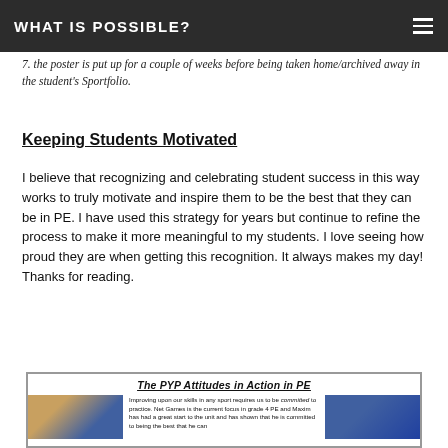WHAT IS POSSIBLE?
7. the poster is put up for a couple of weeks before being taken home/archived away in the student's Sportfolio.
Keeping Students Motivated
I believe that recognizing and celebrating student success in this way works to truly motivate and inspire them to be the best that they can be in PE. I have used this strategy for years but continue to refine the process to make it more meaningful to my students. I love seeing how proud they are when getting this recognition. It always makes my day! Thanks for reading.
[Figure (photo): A framed image section titled 'The PYP Attitudes in Action in PE' showing two gym photos of students on either side of descriptive text about Maxim improving upon skills in Net Games with commitment in grade 4 PE.]